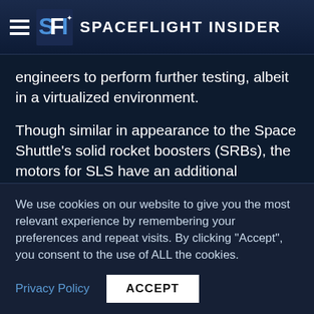Spaceflight Insider
engineers to perform further testing, albeit in a virtualized environment.
Though similar in appearance to the Space Shuttle’s solid rocket boosters (SRBs), the motors for SLS have an additional segment, which allows for more propellant. This extra propellant increases the rated thrust from 2.8 million pounds-force (12,000 kN) on the Shuttle to 3.6 million pounds-force (16,000 kN) on the SLS. Other design changes from the Shuttle’s
We use cookies on our website to give you the most relevant experience by remembering your preferences and repeat visits. By clicking “Accept”, you consent to the use of ALL the cookies.
Privacy Policy
ACCEPT